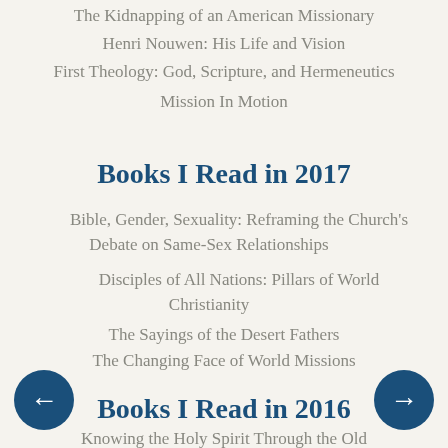The Kidnapping of an American Missionary
Henri Nouwen: His Life and Vision
First Theology: God, Scripture, and Hermeneutics
Mission In Motion
Books I Read in 2017
Bible, Gender, Sexuality: Reframing the Church's Debate on Same-Sex Relationships
Disciples of All Nations: Pillars of World Christianity
The Sayings of the Desert Fathers
The Changing Face of World Missions
Books I Read in 2016
Knowing the Holy Spirit Through the Old Testament